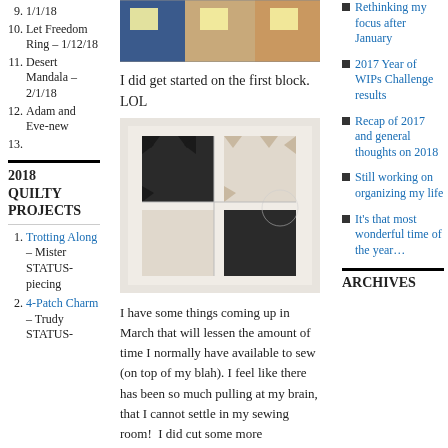1/1/18
9. Let Freedom Ring – 1/12/18
10. Desert Mandala – 2/1/18
11. Adam and Eve-new
12.
2018 QUILTY PROJECTS
1. Trotting Along – Mister STATUS-piecing
2. 4-Patch Charm – Trudy STATUS-
[Figure (photo): Photo of fabric swatches on a table with sticky note labels]
I did get started on the first block.  LOL
[Figure (photo): Photo of a quilt block with star/pinwheel pattern in dark and light fabric on a white mat]
I have some things coming up in March that will lessen the amount of time I normally have available to sew (on top of my blah). I feel like there has been so much pulling at my brain, that I cannot settle in my sewing room!  I did cut some more
Rethinking my focus after January
2017 Year of WIPs Challenge results
Recap of 2017 and general thoughts on 2018
Still working on organizing my life
It's that most wonderful time of the year…
ARCHIVES